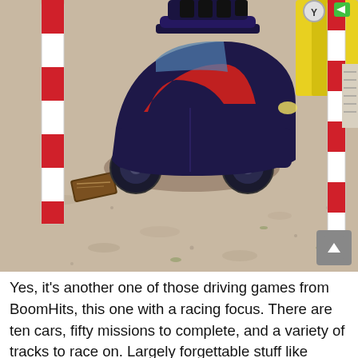[Figure (screenshot): A screenshot from a toy car racing video game showing a dark blue/red toy jeep driving on a sandy/gravelly surface with red and white striped barrier poles on the left, and yellow barriers and a red and white striped post on the right side. The scene looks like an outdoor race track environment.]
Yes, it's another one of those driving games from BoomHits, this one with a racing focus. There are ten cars, fifty missions to complete, and a variety of tracks to race on. Largely forgettable stuff like that...